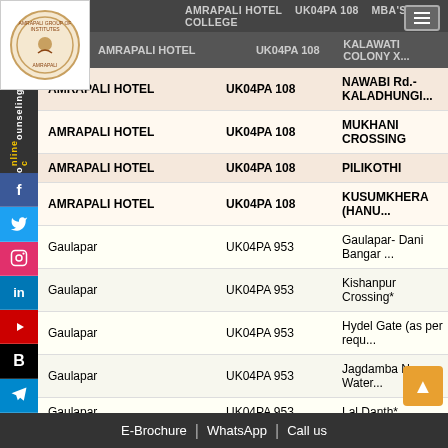AMRAPALI HOTEL | UK04PA 108 | MBA'S COLLEGE / KALAWATI COLONY X / NAWABI Rd.-KALADHUNGI / MUKHANI CROSSING / PILIKOTHI / KUSUMKHERA (HANUMAN MANDIR)
| FROM | BUS NO. | STOP NAME |
| --- | --- | --- |
| AMRAPALI HOTEL | UK04PA 108 | KALAWATI COLONY X... |
| AMRAPALI HOTEL | UK04PA 108 | NAWABI Rd.-KALADHUNGI... |
| AMRAPALI HOTEL | UK04PA 108 | MUKHANI CROSSING |
| AMRAPALI HOTEL | UK04PA 108 | PILIKOTHI |
| AMRAPALI HOTEL | UK04PA 108 | KUSUMKHERA (HANUMAN MANDIR)... |
| Gaulapar | UK04PA 953 | Gaulapar- Dani Bangar... |
| Gaulapar | UK04PA 953 | Kishanpur Crossing* |
| Gaulapar | UK04PA 953 | Hydel Gate (as per requ... |
| Gaulapar | UK04PA 953 | Jagdamba Nagar, Water... |
| Gaulapar | UK04PA 953 | Lal Danth* |
| Gaulapar | UK04PA 953 | Central Hospital, Kusum... |
| Gaulapar | UK04PA 953 | Charayal Crossing* |
| Gaulapar | UK04PA 953 | ... |
E-Brochure | WhatsApp | Call us